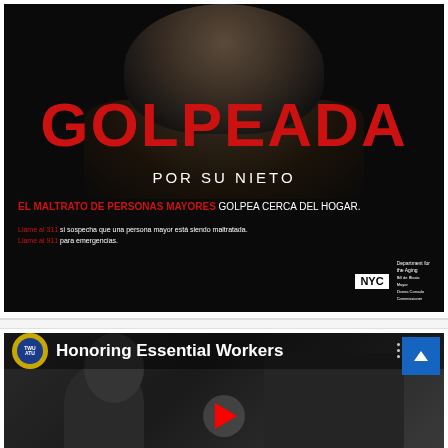[Figure (photo): NYC government public service announcement in Spanish. Black and white photo of an elderly woman's face on dark background. Large red text reads 'GOLPEADA' (beaten/hit). Below in white text: 'POR SU NIETO' (by her grandson). Red bold text: 'EL MALTRATO DE PERSONAS MAYORES' followed in white: 'GOLPEA CERCA DEL HOGAR.' (Elder abuse hits close to home.) Call-to-action lines: 'Llame al 311 si sospecha que una persona mayor está siendo maltratada.' and 'Llame al 911 para emergencias.' NYC logo with Department for the Aging branding in bottom right.]
[Figure (screenshot): YouTube-style video thumbnail for 'Honoring Essential Workers'. Transport Workers Union of America logo (circular blue badge with yellow border) visible at top left. Title text in white on dark background. A red YouTube play button at center bottom. Three-dot menu dots at top right. Blue scroll-up button at far top right corner. Background shows grayscale image of a transit worker/driver.]